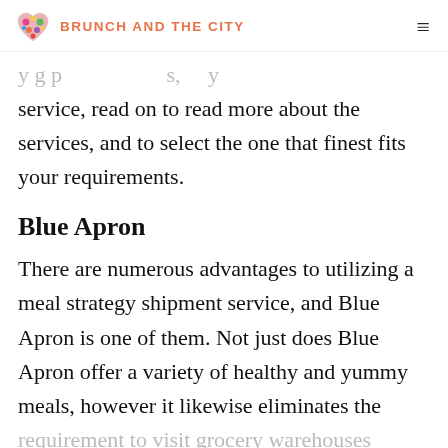BRUNCH AND THE CITY
…y g p …s, y service, read on to read more about the services, and to select the one that finest fits your requirements.
Blue Apron
There are numerous advantages to utilizing a meal strategy shipment service, and Blue Apron is one of them. Not just does Blue Apron offer a variety of healthy and yummy meals, however it likewise eliminates the requirement to visit grocery warehouses…